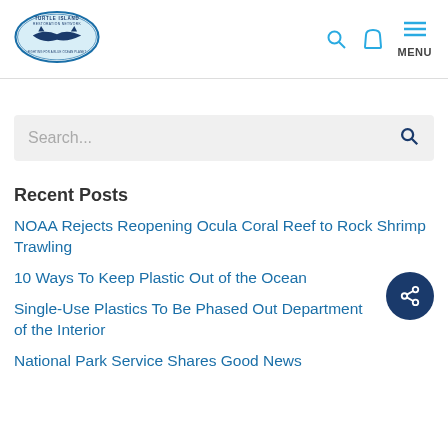[Figure (logo): Turtle Island Restoration Network logo — oval blue border with sharks and text 'TURTLE ISLAND RESTORATION NETWORK' and 'FIGHTING FOR A BLUE OCEAN PLANET']
[Figure (screenshot): Search bar with placeholder text 'Search...' and a search icon on the right, on a light gray background]
Recent Posts
NOAA Rejects Reopening Ocula Coral Reef to Rock Shrimp Trawling
10 Ways To Keep Plastic Out of the Ocean
Single-Use Plastics To Be Phased Out Department of the Interior
National Park Service Shares Good News